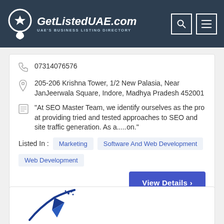GetListedUAE.com — UAE's BUSINESS LISTING DIRECTORY
07314076576
205-206 Krishna Tower, 1/2 New Palasia, Near JanJeerwala Square, Indore, Madhya Pradesh 452001
"At SEO Master Team, we identify ourselves as the pro at providing tried and tested approaches to SEO and site traffic generation. As a.....on."
Listed In : Marketing  Software And Web Development  Web Development
View Details ›
[Figure (logo): Partial logo visible at bottom of page — blue rocket/pen graphic]